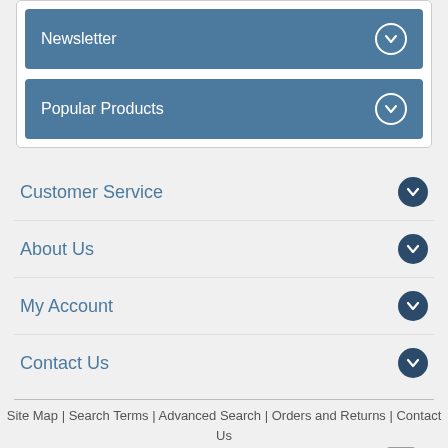Newsletter
Popular Products
Customer Service
About Us
My Account
Contact Us
Site Map | Search Terms | Advanced Search | Orders and Returns | Contact Us
© 2004-2016 Sure Electronics Co., Ltd. All Rights Reserved.